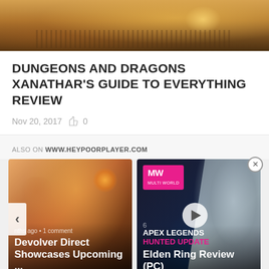[Figure (illustration): Fantasy illustration — partial view of a creature or character, warm orange/brown tones, appears to be from Dungeons and Dragons Xanathar's Guide to Everything]
DUNGEONS AND DRAGONS XANATHAR'S GUIDE TO EVERYTHING REVIEW
Nov 20, 2017  👍 0
ALSO ON WWW.HEYPOORPLAYER.COM
[Figure (photo): Card 1: Image with nav arrow left (‹), text 'ths ago • 1 comment', title 'Devolver Direct Showcases Upcoming ...']
[Figure (photo): Card 2: MW (Multi-World) badge in pink, Apex Legends Hunted Update overlay, play button, text 'Elden Ring Review (PC)', number 6]